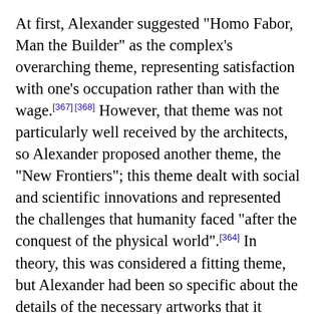At first, Alexander suggested "Homo Fabor, Man the Builder" as the complex's overarching theme, representing satisfaction with one's occupation rather than with the wage.[367][368] However, that theme was not particularly well received by the architects, so Alexander proposed another theme, the "New Frontiers"; this theme dealt with social and scientific innovations and represented the challenges that humanity faced "after the conquest of the physical world".[364] In theory, this was considered a fitting theme, but Alexander had been so specific about the details of the necessary artworks that it limited the creative license for any artists who would be commissioned for such works, so he was fired.[367] It took several tries to agree on the current theme, "The March of Civilization", at which point some of the art had already been